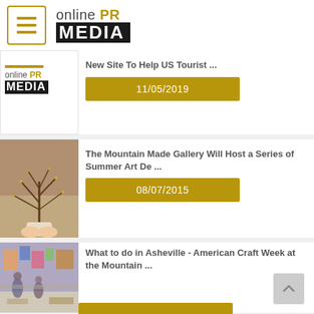[Figure (logo): Online PR Media logo with hamburger menu icon]
New Site To Help US Tourist ...
[Figure (logo): Online PR Media thumbnail logo]
11/05/2019
[Figure (photo): Hands holding a wire tree sculpture with white wrapping at base]
The Mountain Made Gallery Will Host a Series of Summer Art De ...
08/07/2015
[Figure (photo): Interior of an art/craft gallery with colorful items and people browsing]
What to do in Asheville - American Craft Week at the Mountain ...